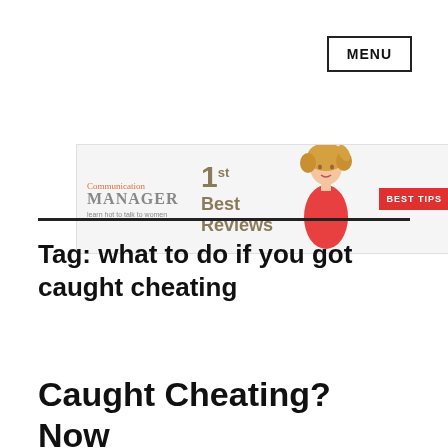MENU
[Figure (illustration): Advertisement banner for Communication Manager website showing '1st Best Reviews' text with a woman with curly blonde hair in a red dress, and a red 'BEST TIPS' button. Tagline: learn how to talk to women.]
Tag: what to do if you got caught cheating
Caught Cheating? Now